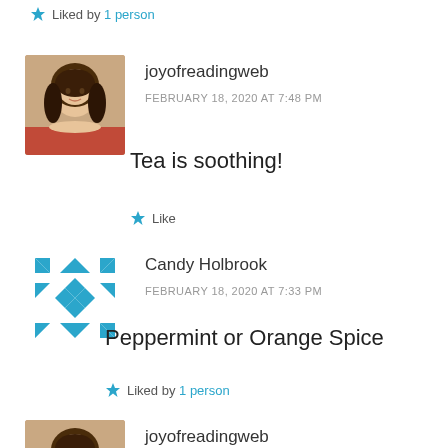★ Liked by 1 person
[Figure (photo): Avatar photo of joyofreadingweb user, woman with dark hair]
joyofreadingweb
FEBRUARY 18, 2020 AT 7:48 PM
Tea is soothing!
★ Like
[Figure (logo): Candy Holbrook avatar - geometric blue and white star/quilt pattern]
Candy Holbrook
FEBRUARY 18, 2020 AT 7:33 PM
Peppermint or Orange Spice
★ Liked by 1 person
[Figure (photo): Avatar photo of joyofreadingweb user, woman with dark hair]
joyofreadingweb
FEBRUARY 18, 2020 AT 7:48 PM